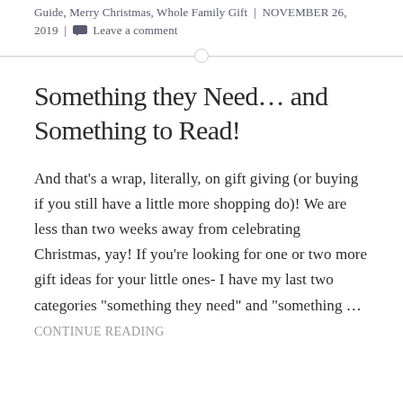Guide, Merry Christmas, Whole Family Gift | NOVEMBER 26, 2019 | Leave a comment
Something they Need... and Something to Read!
And that's a wrap, literally, on gift giving (or buying if you still have a little more shopping do)! We are less than two weeks away from celebrating Christmas, yay! If you're looking for one or two more gift ideas for your little ones- I have my last two categories "something they need" and "something ... CONTINUE READING